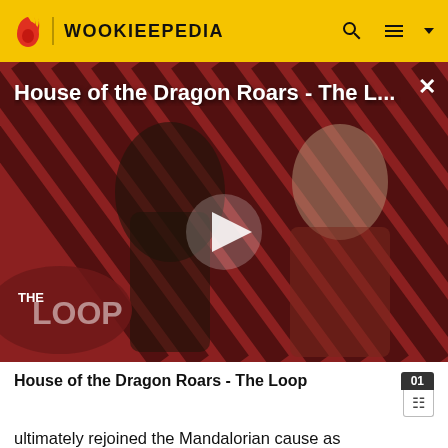WOOKIEEPEDIA
[Figure (screenshot): Video thumbnail for 'House of the Dragon Roars - The Loop' showing two characters against a red diagonal striped background, with a play button overlay and 'THE LOOP' branding badge in bottom left.]
House of the Dragon Roars - The Loop
ultimately rejoined the Mandalorian cause as Mandalore's chief scientist, torturing and experimenting on captured Jedi in order to discover the source of their powers.